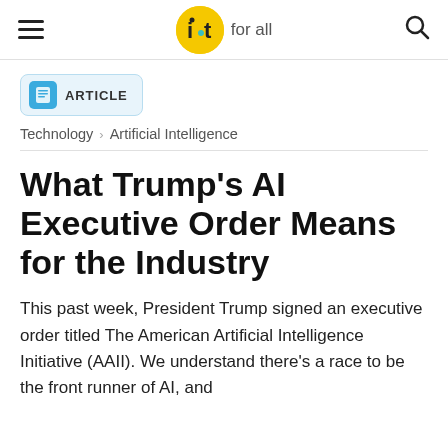iot for all
ARTICLE
Technology > Artificial Intelligence
What Trump's AI Executive Order Means for the Industry
This past week, President Trump signed an executive order titled The American Artificial Intelligence Initiative (AAII). We understand there's a race to be the front runner of AI, and with that comes the fear of losing. Part of the